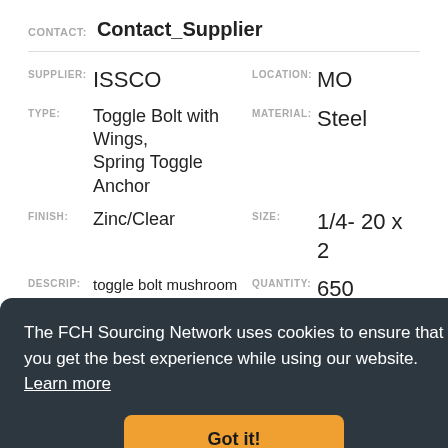CONTACT: Contact_Supplier
SUPPLIER: ISSCO  LOCATION: MO
TYPE: Toggle Bolt with Wings, Spring Toggle Anchor  MATERIAL: Steel
FINISH: Zinc/Clear  SIZE: 1/4- 20 x 2
DESCRIP: toggle bolt mushroom head 1/4-20 x 2  QUANTITY: 650
CONTACT: Contact_Supplier
The FCH Sourcing Network uses cookies to ensure that you get the best experience while using our website. Learn more
Got it!
DESCRIP: toggle bolt flat head  QUANTITY: 350